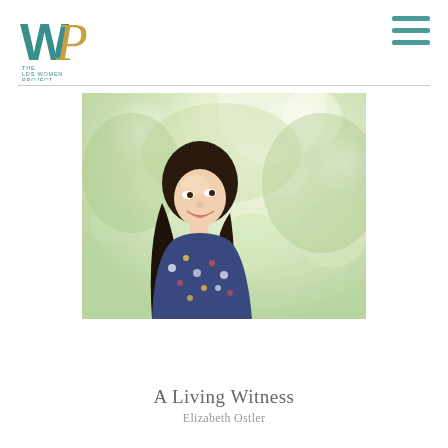The LDS Women Project logo and navigation
[Figure (photo): Young Asian woman with long dark hair looking upward and smiling, wearing a floral blouse, photographed outdoors with blurred green trees in the background (bokeh effect), soft bright lighting]
A Living Witness
Elizabeth Ostler